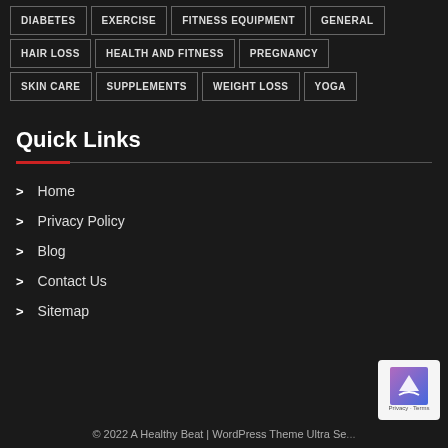DIABETES
EXERCISE
FITNESS EQUIPMENT
GENERAL
HAIR LOSS
HEALTH AND FITNESS
PREGNANCY
SKIN CARE
SUPPLEMENTS
WEIGHT LOSS
YOGA
Quick Links
Home
Privacy Policy
Blog
Contact Us
Sitemap
© 2022 A Healthy Beat | WordPress Theme Ultra Se...